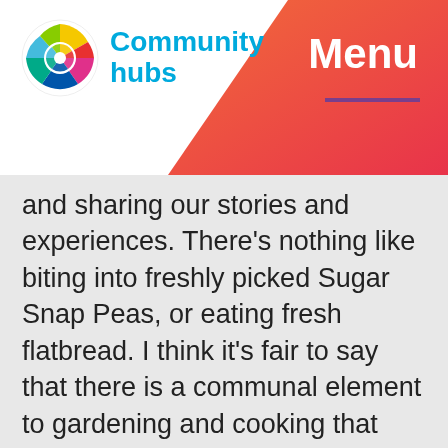[Figure (logo): Community hubs logo with colorful swirl globe icon and blue text reading 'Community hubs']
Menu
and sharing our stories and experiences. There's nothing like biting into freshly picked Sugar Snap Peas, or eating fresh flatbread. I think it's fair to say that there is a communal element to gardening and cooking that brings strangers together. As we eat, we talk and as the weeks progress we're no longer strangers but a group of greatly diverse women